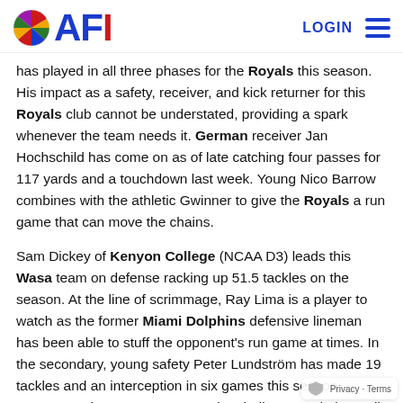AFI | LOGIN
has played in all three phases for the Royals this season. His impact as a safety, receiver, and kick returner for this Royals club cannot be understated, providing a spark whenever the team needs it. German receiver Jan Hochschild has come on as of late catching four passes for 117 yards and a touchdown last week. Young Nico Barrow combines with the athletic Gwinner to give the Royals a run game that can move the chains.
Sam Dickey of Kenyon College (NCAA D3) leads this Wasa team on defense racking up 51.5 tackles on the season. At the line of scrimmage, Ray Lima is a player to watch as the former Miami Dolphins defensive lineman has been able to stuff the opponent's run game at times. In the secondary, young safety Peter Lundström has made 19 tackles and an interception in six games this season. Expect Lundström to step up to the challenge and play well against a well-coached Rosters passing attack.